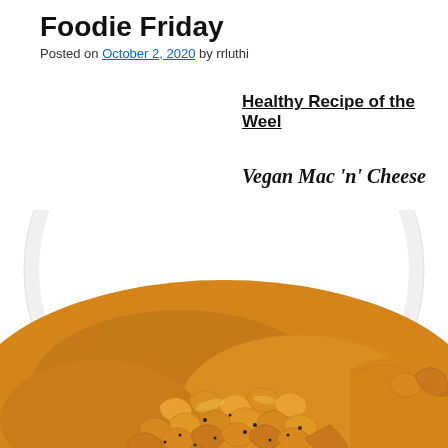Foodie Friday
Posted on October 2, 2020 by rrluthi
Healthy Recipe of the Week
Vegan Mac 'n' Cheese
[Figure (photo): A close-up photo of vegan mac and cheese served on a white plate, showing macaroni pasta coated in orange cheese sauce with black pepper, photographed from above at an angle. The plate is white and round, partially visible.]